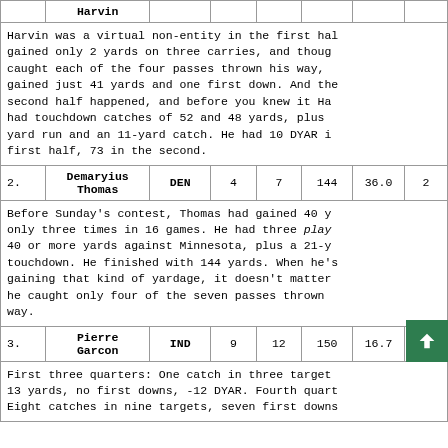|  | Harvin |  |  |  |  |  |
| --- | --- | --- | --- | --- | --- | --- |
|  | Harvin |  |  |  |  |  |
Harvin was a virtual non-entity in the first half, gained only 2 yards on three carries, and though he caught each of the four passes thrown his way, he gained just 41 yards and one first down. And the second half happened, and before you knew it Harvin had touchdown catches of 52 and 48 yards, plus a 2-yard run and an 11-yard catch. He had 10 DYAR in the first half, 73 in the second.
| 2. | Demaryius Thomas | DEN | 4 | 7 | 144 | 36.0 | 2 |
| --- | --- | --- | --- | --- | --- | --- | --- |
| 2. | Demaryius Thomas | DEN | 4 | 7 | 144 | 36.0 | 2 |
Before Sunday's contest, Thomas had gained 40 yards only three times in 16 games. He had three plays of 40 or more yards against Minnesota, plus a 21-yard touchdown. He finished with 144 yards. When he's gaining that kind of yardage, it doesn't matter that he caught only four of the seven passes thrown his way.
| 3. | Pierre Garcon | IND | 9 | 12 | 150 | 16.7 | 2 |
| --- | --- | --- | --- | --- | --- | --- | --- |
| 3. | Pierre Garcon | IND | 9 | 12 | 150 | 16.7 | 2 |
First three quarters: One catch in three targets, 13 yards, no first downs, -12 DYAR. Fourth quarter: Eight catches in nine targets, seven first downs...